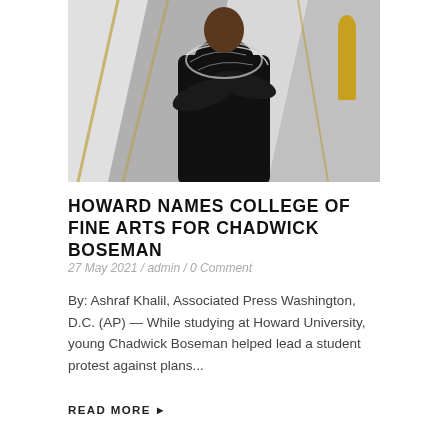[Figure (photo): A man in a black suit with decorative silver/white embroidery on the shoulders, arms crossed, standing in front of an Oscar ceremony backdrop with geometric white panels and gold Oscar statues visible.]
HOWARD NAMES COLLEGE OF FINE ARTS FOR CHADWICK BOSEMAN
27 May 2021 / admin / 0 Comment
By: Ashraf Khalil, Associated Press Washington, D.C. (AP) — While studying at Howard University, young Chadwick Boseman helped lead a student protest against plans...
READ MORE ▶